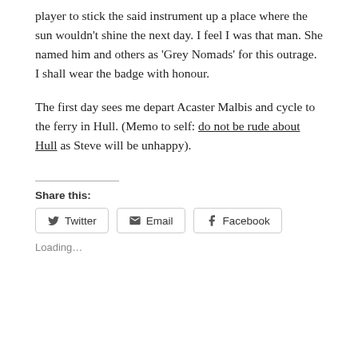player to stick the said instrument up a place where the sun wouldn't shine the next day. I feel I was that man. She named him and others as 'Grey Nomads' for this outrage. I shall wear the badge with honour.
The first day sees me depart Acaster Malbis and cycle to the ferry in Hull. (Memo to self: do not be rude about Hull as Steve will be unhappy).
Share this:
Twitter  Email  Facebook
Loading...